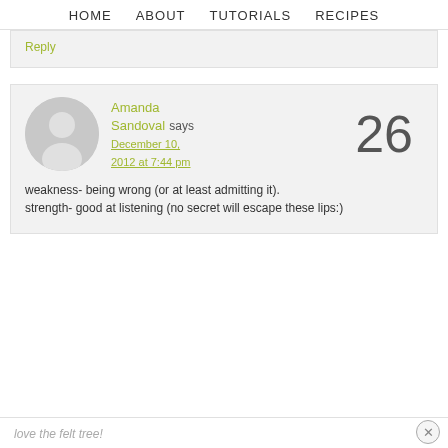HOME   ABOUT   TUTORIALS   RECIPES
Reply
Amanda Sandoval says December 10, 2012 at 7:44 pm  26
weakness- being wrong (or at least admitting it).
strength- good at listening (no secret will escape these lips:)
love the felt tree!